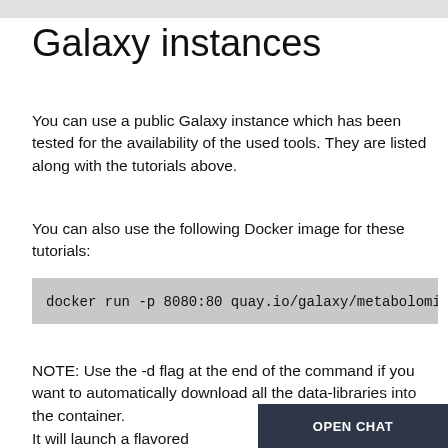Galaxy instances
You can use a public Galaxy instance which has been tested for the availability of the used tools. They are listed along with the tutorials above.
You can also use the following Docker image for these tutorials:
docker run -p 8080:80 quay.io/galaxy/metabolomics-
NOTE: Use the -d flag at the end of the command if you want to automatically download all the data-libraries into the container.
It will launch a flavored Galaxy instance available on http://localhost:8080. This instance will co... workflows to follow the tutorials in this top...